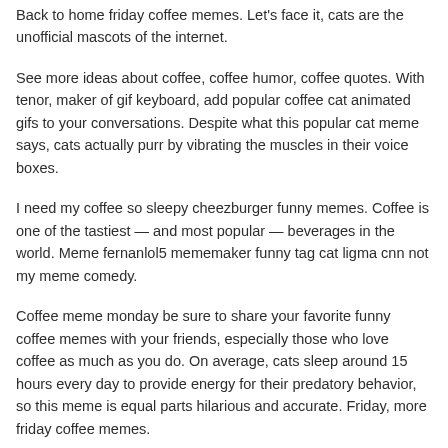Back to home friday coffee memes. Let's face it, cats are the unofficial mascots of the internet.
See more ideas about coffee, coffee humor, coffee quotes. With tenor, maker of gif keyboard, add popular coffee cat animated gifs to your conversations. Despite what this popular cat meme says, cats actually purr by vibrating the muscles in their voice boxes.
I need my coffee so sleepy cheezburger funny memes. Coffee is one of the tastiest — and most popular — beverages in the world. Meme fernanlol5 mememaker funny tag cat ligma cnn not my meme comedy.
Coffee meme monday be sure to share your favorite funny coffee memes with your friends, especially those who love coffee as much as you do. On average, cats sleep around 15 hours every day to provide energy for their predatory behavior, so this meme is equal parts hilarious and accurate. Friday, more friday coffee memes.
Tsimportantin life to be positive rightinowl m positive need. Here are a few funny coffee quotes to make it even better to kickstart your day with a smile. Give yourself a high five for doing so much in only ten minutes and take a break anyway.